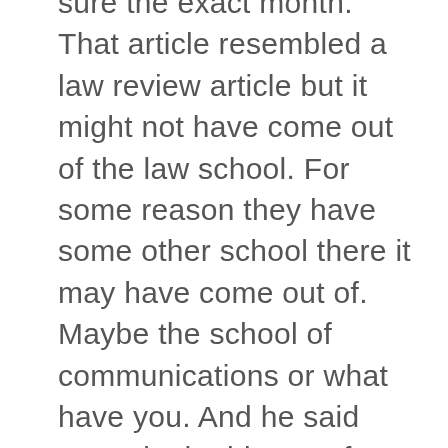sure the exact month. That article resembled a law review article but it might not have come out of the law school. For some reason they have some other school there it may have come out of. Maybe the school of communications or what have you. And he said never in the history of administrative law had the desires and inclinations and wishes of people appointed by the President been frustrated by the activities of a staff member as happened in the cable field at the FCC. Imagine that. Something like that … never in the history. I can't believe anybody would do